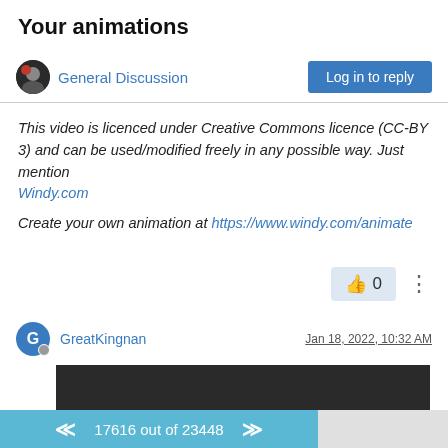Your animations
General Discussion
Log in to reply
This video is licenced under Creative Commons licence (CC-BY 3) and can be used/modified freely in any possible way. Just mention Windy.com
Create your own animation at https://www.windy.com/animate
0
GreatKingnan
Jan 18, 2022, 10:32 AM
[Figure (screenshot): Dark/black video thumbnail rectangle]
17616 out of 23448